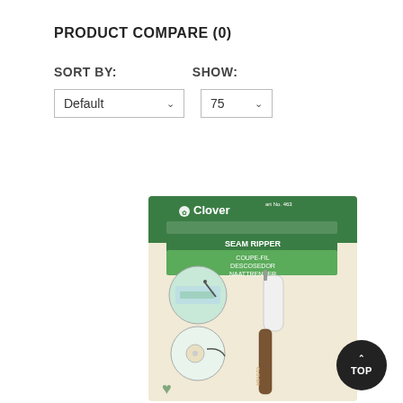PRODUCT COMPARE (0)
SORT BY:    SHOW:
Default   75
[Figure (photo): Clover brand seam ripper product in packaging. The packaging is cream/beige colored with a green header showing the Clover logo and art no. 463. Text reads SEAM RIPPER / COUPE-FIL / DESCOSEDOR / NAATTRENNER. Two circular inset images show the seam ripper in use. The tool has a brown handle and white cap.]
TOP